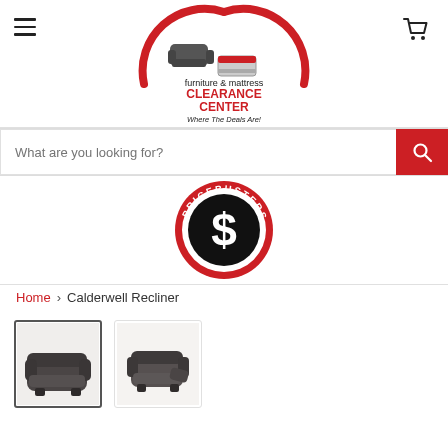[Figure (logo): Furniture & Mattress Clearance Center logo with red arch, sofa and mattress icons, tagline 'Where The Deals Are!']
[Figure (other): Search bar with placeholder text 'What are you looking for?' and red search button]
[Figure (logo): Pricebusters circular logo — red border, black center with white dollar sign S]
Home > Calderwell Recliner
[Figure (photo): Two thumbnail images of a dark gray leather Calderwell Recliner chair; first image is selected with a border]